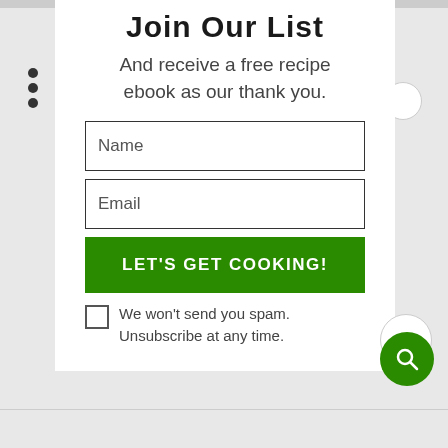Join Our List
And receive a free recipe ebook as our thank you.
Name
Email
LET'S GET COOKING!
We won't send you spam. Unsubscribe at any time.